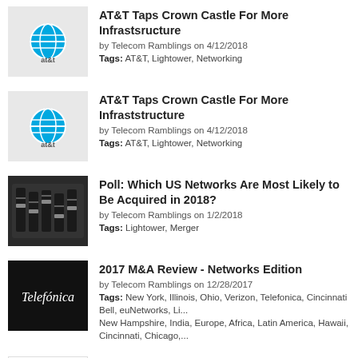AT&T Taps Crown Castle For More Infrastsructure
by Telecom Ramblings on 4/12/2018
Tags: AT&T, Lightower, Networking
AT&T Taps Crown Castle For More Infraststructure
by Telecom Ramblings on 4/12/2018
Tags: AT&T, Lightower, Networking
Poll: Which US Networks Are Most Likely to Be Acquired in 2018?
by Telecom Ramblings on 1/2/2018
Tags: Lightower, Merger
2017 M&A Review - Networks Edition
by Telecom Ramblings on 12/28/2017
Tags: New York, Illinois, Ohio, Verizon, Telefonica, Cincinnati Bell, euNetworks, Li... New Hampshire, India, Europe, Africa, Latin America, Hawaii, Cincinnati, Chicago,...
Looking Back on My 2017 Predictions
by Telecom Ramblings on 12/26/2017
Tags: Cogent, Sprint, Zayo, T-Mobile, Comcast, Lightower, Europe, USA, Networki...